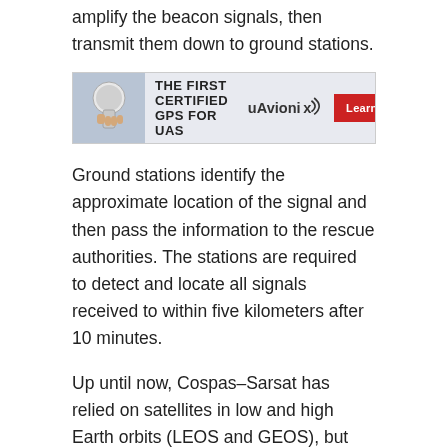amplify the beacon signals, then transmit them down to ground stations.
[Figure (other): Advertisement banner: The First Certified GPS for UAS — uAvionix logo with Learn More button]
Ground stations identify the approximate location of the signal and then pass the information to the rescue authorities. The stations are required to detect and locate all signals received to within five kilometers after 10 minutes.
Up until now, Cospas–Sarsat has relied on satellites in low and high Earth orbits (LEOS and GEOS), but the modernized system will replace the LEOs with middle Earth orbiting (MEO) GNSS satellites. An article in the forthcoming November-December issue of Inside GNSS will describe the improvements in the MEOSAT initiative for Cospas–Sarsat.